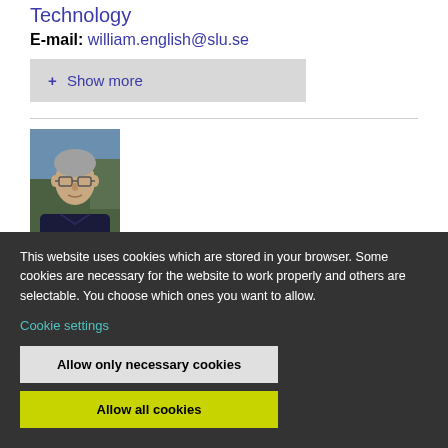Technology
E-mail: william.english@slu.se
+ Show more
[Figure (photo): Portrait photo of a middle-aged man with grey hair and glasses, wearing a dark jacket, outdoors with trees in background]
This website uses cookies which are stored in your browser. Some cookies are necessary for the website to work properly and others are selectable. You choose which ones you want to allow.
Cookie settings
Allow only necessary cookies
Allow all cookies